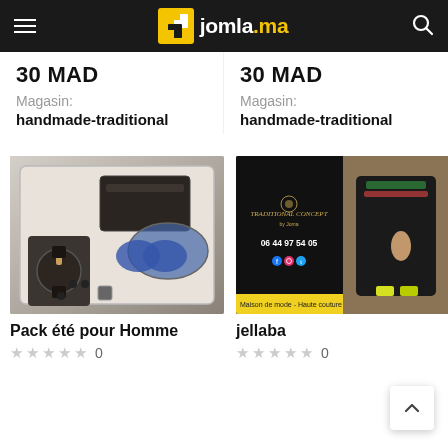jomla.ma
30 MAD
Magasin:
handmade-traditional
30 MAD
Magasin:
handmade-traditional
[Figure (photo): Product photo of a men's summer pack in a box: a wooden-face watch, black leather wallet, beaded bracelet, square cufflink, and blue sunglasses]
Pack été pour Homme
0
[Figure (photo): Product photo collage: left side black card with Traditional Concept logo and phone number 06 44 97 54 05, yellow banner at bottom reading 'Maison de mode - Haute couture t... le H'; right side woman wearing black embroidered jellaba with bright yellow heels]
jellaba
0